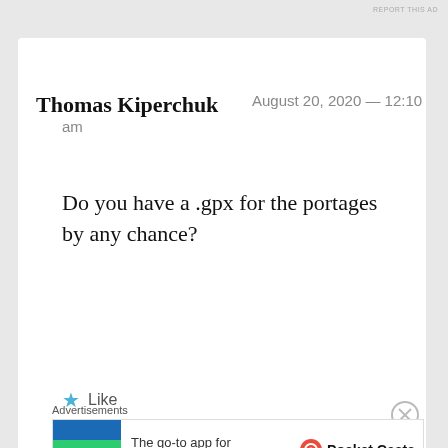REPORT THIS AD
Thomas Kiperchuk
August 20, 2020 — 12:10 am
Do you have a .gpx for the portages by any chance?
Like
REPLY
Advertisements
[Figure (other): Pocket Casts podcast app advertisement banner with colorful logo and text 'The go-to app for podcast lovers.']